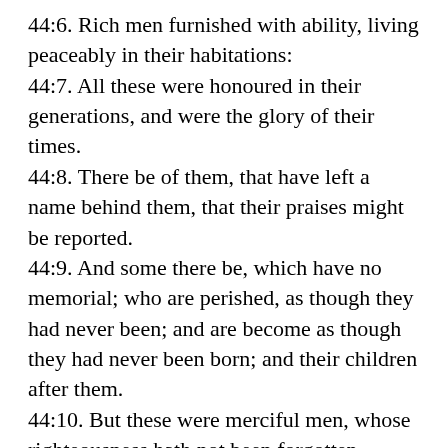44:6. Rich men furnished with ability, living peaceably in their habitations:
44:7. All these were honoured in their generations, and were the glory of their times.
44:8. There be of them, that have left a name behind them, that their praises might be reported.
44:9. And some there be, which have no memorial; who are perished, as though they had never been; and are become as though they had never been born; and their children after them.
44:10. But these were merciful men, whose righteousness hath not been forgotten.
44:11. With their seed shall continually remain a good inheritance, and their children are within The Covenant.
44:12. Their seed standeth fast, and their children for their sakes.
44:13. Their seed shall remain for ever, and their glory shall not be blotted out.
44:14. Their bodies are buried in peace; but their